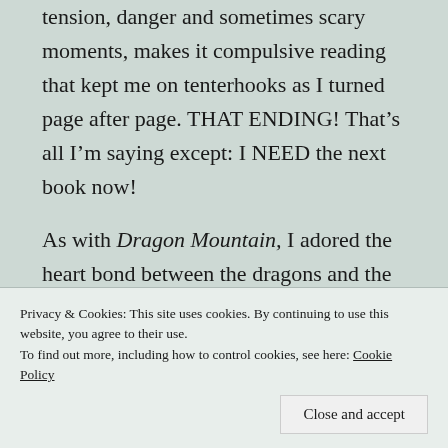tension, danger and sometimes scary moments, makes it compulsive reading that kept me on tenterhooks as I turned page after page. THAT ENDING! That’s all I’m saying except: I NEED the next book now!
As with Dragon Mountain, I adored the heart bond between the dragons and the children. They gain strength, comfort and courage through their friendship and bond. The children and dragons form a formidable team as they resolve to use all
Privacy & Cookies: This site uses cookies. By continuing to use this website, you agree to their use.
To find out more, including how to control cookies, see here: Cookie Policy
Close and accept
Billy shows as he battles with his conscience.